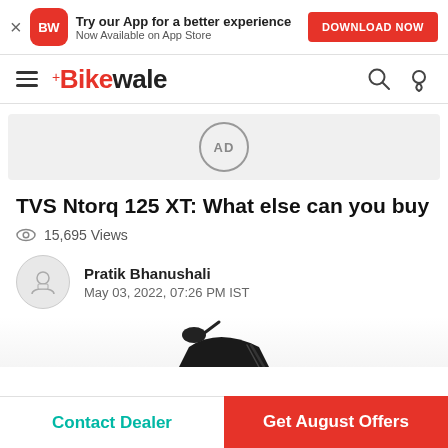Try our App for a better experience. Now Available on App Store. DOWNLOAD NOW
BikeWale navigation bar
[Figure (other): AD placeholder grey box with AD label in circle]
TVS Ntorq 125 XT: What else can you buy
15,695 Views
Pratik Bhanushali
May 03, 2022, 07:26 PM IST
[Figure (photo): Partial image of a TVS Ntorq 125 XT scooter, showing the mirror and front body]
Contact Dealer | Get August Offers